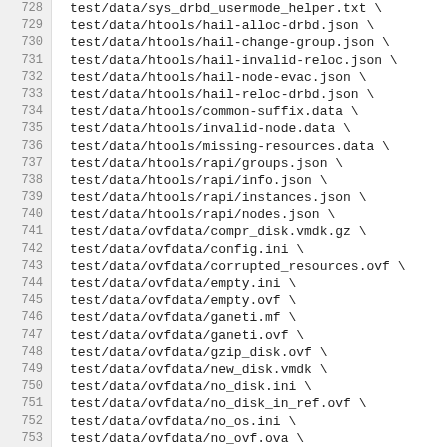728  test/data/sys_drbd_usermode_helper.txt \
729  test/data/htools/hail-alloc-drbd.json \
730  test/data/htools/hail-change-group.json \
731  test/data/htools/hail-invalid-reloc.json \
732  test/data/htools/hail-node-evac.json \
733  test/data/htools/hail-reloc-drbd.json \
734  test/data/htools/common-suffix.data \
735  test/data/htools/invalid-node.data \
736  test/data/htools/missing-resources.data \
737  test/data/htools/rapi/groups.json \
738  test/data/htools/rapi/info.json \
739  test/data/htools/rapi/instances.json \
740  test/data/htools/rapi/nodes.json \
741  test/data/ovfdata/compr_disk.vmdk.gz \
742  test/data/ovfdata/config.ini \
743  test/data/ovfdata/corrupted_resources.ovf \
744  test/data/ovfdata/empty.ini \
745  test/data/ovfdata/empty.ovf \
746  test/data/ovfdata/ganeti.mf \
747  test/data/ovfdata/ganeti.ovf \
748  test/data/ovfdata/gzip_disk.ovf \
749  test/data/ovfdata/new_disk.vmdk \
750  test/data/ovfdata/no_disk.ini \
751  test/data/ovfdata/no_disk_in_ref.ovf \
752  test/data/ovfdata/no_os.ini \
753  test/data/ovfdata/no_ovf.ova \